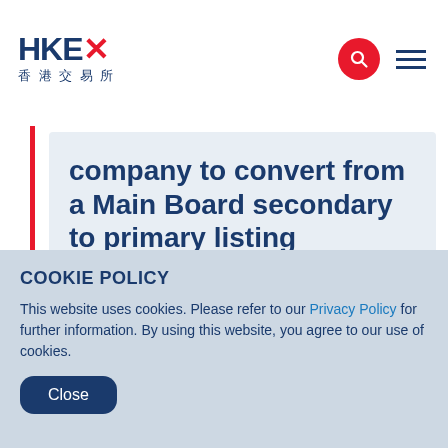[Figure (logo): HKEX Hong Kong Exchanges and Clearing logo with Chinese characters 香港交易所, red X letter, search icon button (red circle), and hamburger menu icon]
company to convert from a Main Board secondary to primary listing
COOKIE POLICY
This website uses cookies. Please refer to our Privacy Policy for further information. By using this website, you agree to our use of cookies.
Close